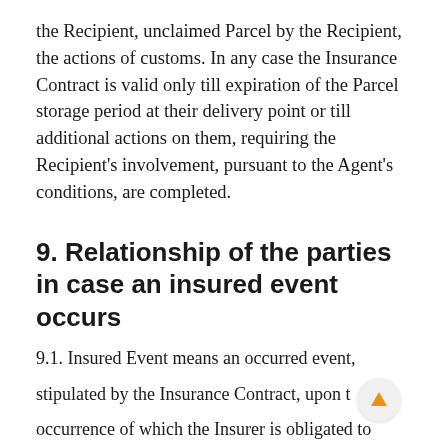the Recipient, unclaimed Parcel by the Recipient, the actions of customs. In any case the Insurance Contract is valid only till expiration of the Parcel storage period at their delivery point or till additional actions on them, requiring the Recipient's involvement, pursuant to the Agent's conditions, are completed.
9. Relationship of the parties in case an insured event occurs
9.1. Insured Event means an occurred event, stipulated by the Insurance Contract, upon the occurrence of which the Insurer is obligated to make the insurance payout to the Insured (the Beneficiary).